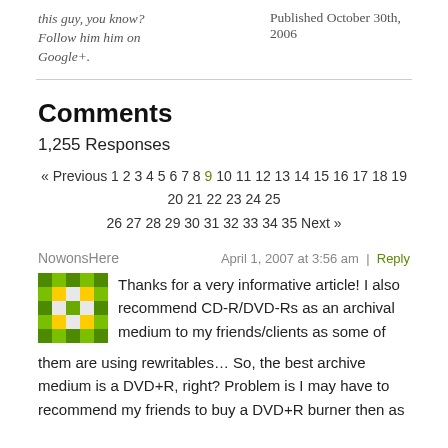this guy, you know?
Follow him him on
Google+.
Published October 30th,
2006
Comments
1,255 Responses
« Previous 1 2 3 4 5 6 7 8 9 10 11 12 13 14 15 16 17 18 19 20 21 22 23 24 25 26 27 28 29 30 31 32 33 34 35 Next »
NowonsHere
April 1, 2007 at 3:56 am | Reply
[Figure (illustration): Green pixel/mosaic avatar icon for user NowonsHere]
Thanks for a very informative article! I also recommend CD-R/DVD-Rs as an archival medium to my friends/clients as some of them are using rewritables… So, the best archive medium is a DVD+R, right? Problem is I may have to recommend my friends to buy a DVD+R burner then as